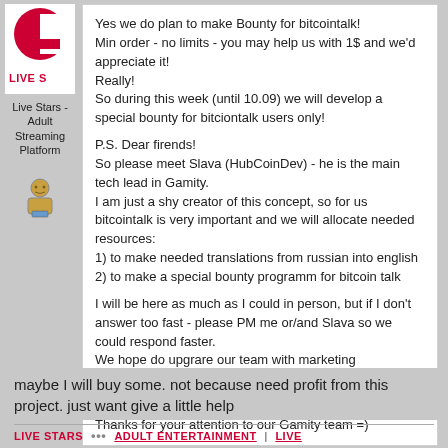[Figure (logo): Live Stars adult streaming platform logo with red text on white background]
Live Stars - Adult Streaming Platform
[Figure (illustration): User avatar icon]
Yes we do plan to make Bounty for bitcointalk!
Min order - no limits - you may help us with 1$ and we'd appreciate it!
Really!
So during this week (until 10.09) we will develop a special bounty for bitciontalk users only!

P.S. Dear firends!
So please meet Slava (HubCoinDev) - he is the main tech lead in Gamity.
I am just a shy creator of this concept, so for us bitcointalk is very important and we will allocate needed resources:
1) to make needed translations from russian into english
2) to make a special bounty programm for bitcoin talk

I will be here as much as I could in person, but if I don't answer too fast - please PM me or/and Slava so we could respond faster.
We hope do upgrare our team with marketing professional soon so community managers could answer all the questions we did answer fast enough!

Thanks for your attention to our Gamity team =)
maybe I will buy some. not because need profit from this project. just want give a little help
LIVE STARS ••• ADULT ENTERTAINMENT | LIVE